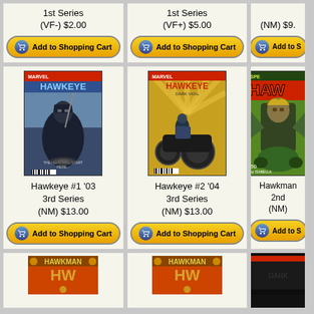1st Series (VF-) $2.00
1st Series (VF+) $5.00
(NM) $9.
[Figure (other): Add to Shopping Cart button]
[Figure (other): Add to Shopping Cart button]
[Figure (other): Add to Shopping Cart button (partially visible)]
[Figure (illustration): Hawkeye #1 '03 3rd Series comic book cover showing Hawkeye character with bow]
Hawkeye #1 '03 3rd Series (NM) $13.00
[Figure (other): Add to Shopping Cart button]
[Figure (illustration): Hawkeye #2 '04 3rd Series comic book cover showing Hawkeye on motorcycle]
Hawkeye #2 '04 3rd Series (NM) $13.00
[Figure (other): Add to Shopping Cart button]
[Figure (illustration): Hawkman 2nd Series comic book cover (partially visible)]
Hawkman 2nd (NM)
[Figure (illustration): Hawkman comic bottom row (partially visible)]
[Figure (illustration): Hawkman comic bottom row second (partially visible)]
[Figure (illustration): Dark comic cover bottom row third (partially visible)]